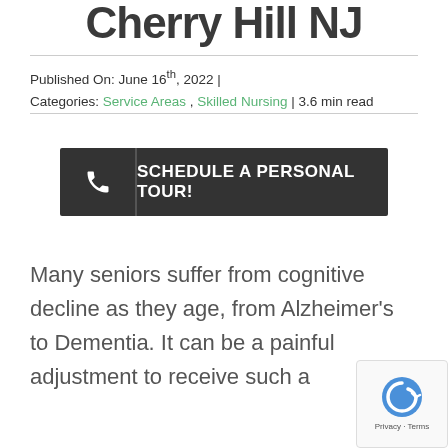Cherry Hill NJ
Published On: June 16th, 2022 | Categories: Service Areas, Skilled Nursing | 3.6 min read
[Figure (other): Dark button CTA with phone icon and text SCHEDULE A PERSONAL TOUR!]
Many seniors suffer from cognitive decline as they age, from Alzheimer's to Dementia. It can be a painful adjustment to receive such a